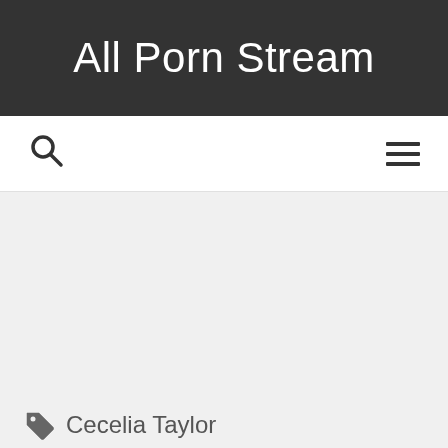All Porn Stream
Search and Menu icons
Cecelia Taylor